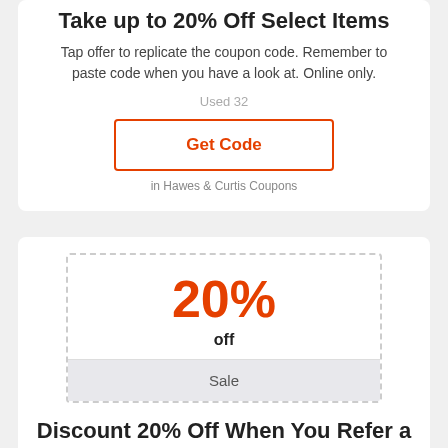Take up to 20% Off Select Items
Tap offer to replicate the coupon code. Remember to paste code when you have a look at. Online only.
Used 32
Get Code
in Hawes & Curtis Coupons
20%
off
Sale
Discount 20% Off When You Refer a Friend
No discount coupon code required. Costs as significant. Tap to